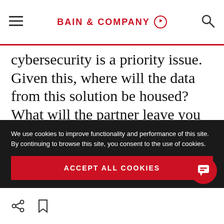BAIN & COMPANY
cybersecurity is a priority issue. Given this, where will the data from this solution be housed? What will the partner leave you with—a process that you control, or a subscription service with an ongoing relationship? If they plan to transfer operational control, will they manage the transition and training or will you need someone
We use cookies to improve functionality and performance of this site. By continuing to browse this site, you consent to the use of cookies.
ACCEPT ALL COOKIES